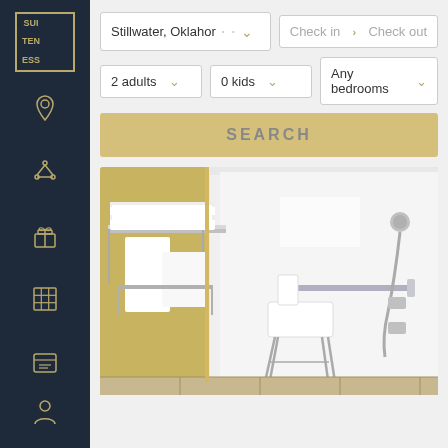[Figure (logo): Suiteness logo — gold bordered box with SUI TEN ESS text in grid]
[Figure (infographic): Sidebar navigation icons: location pin, layered/network icon, gift/present icon, grid/building icon, card/list icon, person/profile icon — all outlined in gold on dark navy background]
Stillwater, Oklahor · · ∨
Check in  > Check out
2 adults ∨
0 kids ∨
Any bedrooms ∨
SEARCH
[Figure (photo): Hotel accessible bathroom showing a roll-in shower with white walls, a shower bench/chair with metal legs, grab bars on the wall, a hand-held showerhead on the right, and a towel rack with white folded towels and hanging towels on the left. Yellow/gold tile accent on the left wall, beige tile floor.]